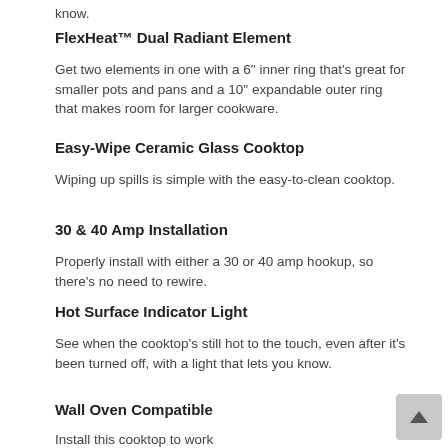know.
FlexHeat™ Dual Radiant Element
Get two elements in one with a 6" inner ring that's great for smaller pots and pans and a 10" expandable outer ring that makes room for larger cookware.
Easy-Wipe Ceramic Glass Cooktop
Wiping up spills is simple with the easy-to-clean cooktop.
30 & 40 Amp Installation
Properly install with either a 30 or 40 amp hookup, so there's no need to rewire.
Hot Surface Indicator Light
See when the cooktop's still hot to the touch, even after it's been turned off, with a light that lets you know.
Wall Oven Compatible
Install this cooktop to work with a wall oven or on its own for more flexibility.